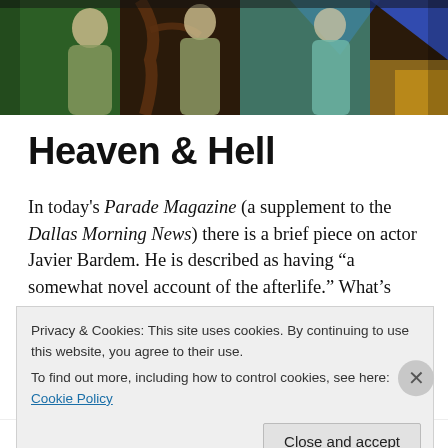[Figure (photo): Stained glass artwork showing robed figures against colorful blue, green, and gold glass panels]
Heaven & Hell
In today's Parade Magazine (a supplement to the Dallas Morning News) there is a brief piece on actor Javier Bardem. He is described as having “a somewhat novel account of the afterlife.” What’s novel about it? He says, “I don't know if I’ll get to heaven. I’m a bad boy… Heaven must be nice, but is it too boring? Maybe you can get an
Privacy & Cookies: This site uses cookies. By continuing to use this website, you agree to their use.
To find out more, including how to control cookies, see here: Cookie Policy